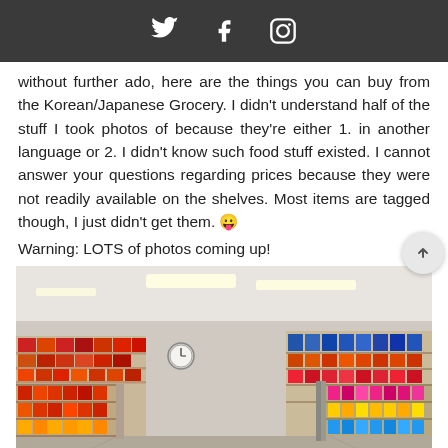[Twitter icon] [Facebook icon] [Instagram icon]
without further ado, here are the things you can buy from the Korean/Japanese Grocery. I didn't understand half of the stuff I took photos of because they're either 1. in another language or 2. I didn't know such food stuff existed. I cannot answer your questions regarding prices because they were not readily available on the shelves. Most items are tagged though, I just didn't get them. 😛
Warning: LOTS of photos coming up!
[Figure (photo): Interior of a Korean/Japanese grocery store showing aisles with colorful product packaging on shelves, fluorescent lighting on the ceiling, and a clock on the wall.]